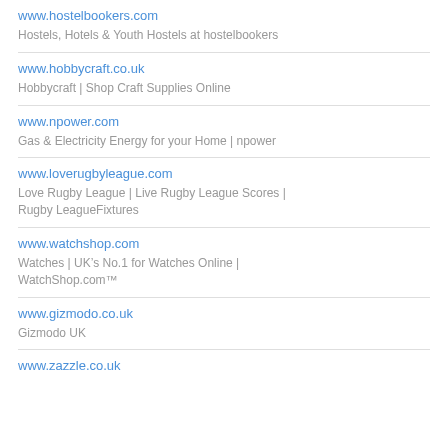www.hostelbookers.com
Hostels, Hotels & Youth Hostels at hostelbookers
www.hobbycraft.co.uk
Hobbycraft | Shop Craft Supplies Online
www.npower.com
Gas & Electricity Energy for your Home | npower
www.loverugbyleague.com
Love Rugby League | Live Rugby League Scores | Rugby LeagueFixtures
www.watchshop.com
Watches | UK’s No.1 for Watches Online | WatchShop.com™
www.gizmodo.co.uk
Gizmodo UK
www.zazzle.co.uk